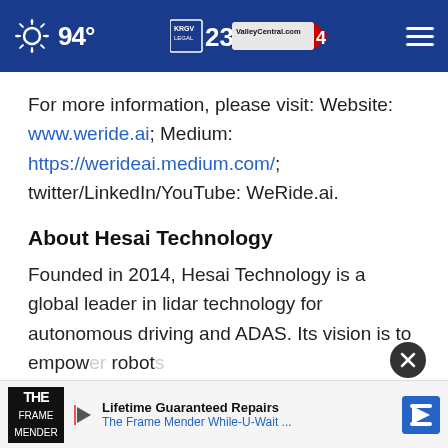94° ValleyCentral.com
For more information, please visit: Website: www.weride.ai; Medium: https://werideai.medium.com/; twitter/LinkedIn/YouTube: WeRide.ai.
About Hesai Technology
Founded in 2014, Hesai Technology is a global leader in lidar technology for autonomous driving and ADAS. Its vision is to empower robots...
[Figure (screenshot): Advertisement banner: Lifetime Guaranteed Repairs - The Frame Mender While-U-Wait...]